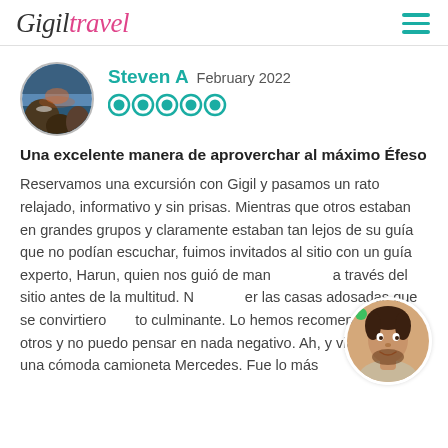Gigil travel
Steven A  February 2022
[Figure (other): Five TripAdvisor green circle rating icons (5 out of 5)]
Una excelente manera de aproverchar al máximo Éfeso
Reservamos una excursión con Gigil y pasamos un rato relajado, informativo y sin prisas. Mientras que otros estaban en grandes grupos y claramente estaban tan lejos de su guía que no podían escuchar, fuimos invitados al sitio con un guía experto, Harun, quien nos guió de manera a través del sitio antes de la multitud. N er las casas adosadas que se convirtiero to culminante. Lo hemos recomendado a otros y no puedo pensar en nada negativo. Ah, y viajamos en una cómoda camioneta Mercedes. Fue lo más